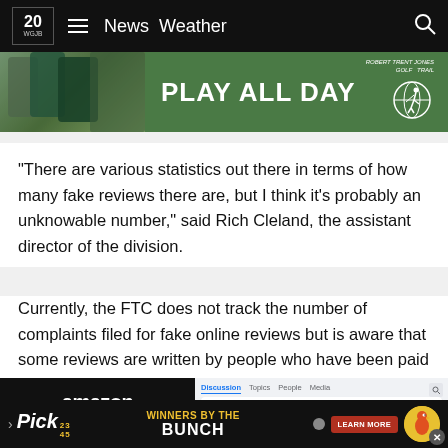20 WGJB News Weather
[Figure (photo): Advertisement banner: golf photo on left, green background with 'PLAY ALL DAY' text and Robert Trent Jones Golf Trail logo on right]
“There are various statistics out there in terms of how many fake reviews there are, but I think it’s probably an unknowable number,” said Rich Cleland, the assistant director of the division.
Currently, the FTC does not track the number of complaints filed for fake online reviews but is aware that some reviews are written by people who have been paid to write them.
[Figure (screenshot): Partial screenshot showing Amazon logo on dark background (left) and a Facebook group page interface (right) with discussion tabs and user content about Amazon reviews]
[Figure (advertisement): Bottom advertisement banner: Pick 2-3-4-5 lottery ad with 'WINNERS BY THE BUNCH' text, Learn More button, and lottery mascot bird on dark background]